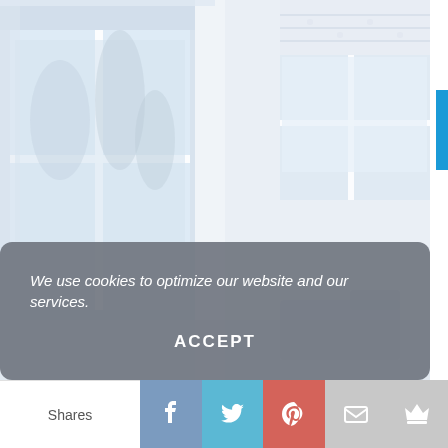[Figure (photo): Interior room photo showing white walls, large windows with natural light, a roman shade/blind at top right, and minimal furniture. The scene has a bright, airy, pale blue-white color palette.]
We use cookies to optimize our website and our services.
ACCEPT
Shares